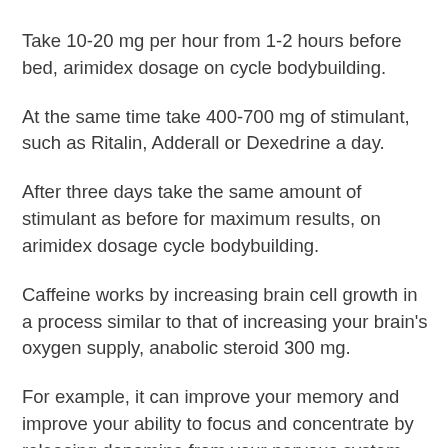Take 10-20 mg per hour from 1-2 hours before bed, arimidex dosage on cycle bodybuilding.
At the same time take 400-700 mg of stimulant, such as Ritalin, Adderall or Dexedrine a day.
After three days take the same amount of stimulant as before for maximum results, on arimidex dosage cycle bodybuilding.
Caffeine works by increasing brain cell growth in a process similar to that of increasing your brain's oxygen supply, anabolic steroid 300 mg.
For example, it can improve your memory and improve your ability to focus and concentrate by releasing dopamine from your nervous system into the brain, which